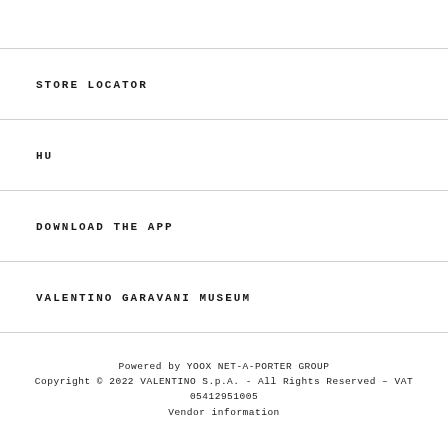STORE LOCATOR
HU
DOWNLOAD THE APP
VALENTINO GARAVANI MUSEUM
Powered by YOOX NET-A-PORTER GROUP
Copyright © 2022 VALENTINO S.p.A. - All Rights Reserved – VAT 05412951005
Vendor information